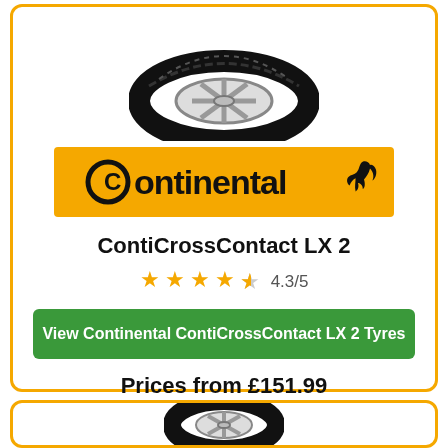[Figure (illustration): Black and white SUV/all-terrain tire, viewed from front-side angle, partially cropped at top]
[Figure (logo): Continental brand logo: orange/yellow banner with black text 'Continental' and rearing horse silhouette]
ContiCrossContact LX 2
4.3/5 stars rating (4 full stars and 1 partial star shown in orange)
View Continental ContiCrossContact LX 2 Tyres
Prices from £151.99
[Figure (illustration): Black tire partially visible at bottom of page, in second product card]